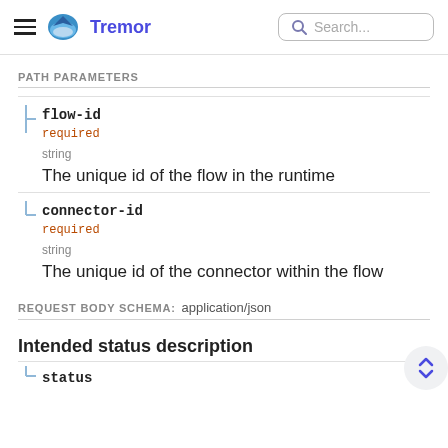Tremor | Search...
PATH PARAMETERS
flow-id
required
string
The unique id of the flow in the runtime
connector-id
required
string
The unique id of the connector within the flow
REQUEST BODY SCHEMA: application/json
Intended status description
status